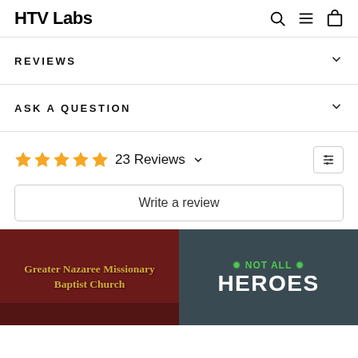HTV Labs
REVIEWS
ASK A QUESTION
★★★★★ 23 Reviews
Write a review
[Figure (photo): Left photo: dark red/maroon background with gold text reading 'Greater Nazaree Missionary Baptist Church'. Right photo: dark blue/gray background with green fleur-de-lis icons and white/green text reading 'NOT ALL HEROES']